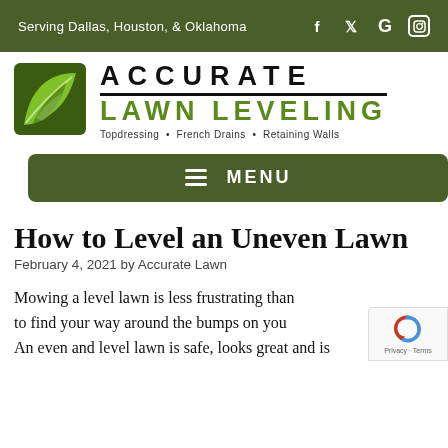Serving Dallas, Houston, & Oklahoma
[Figure (logo): Accurate Lawn Leveling logo with green leaf icon, 'ACCURATE' in black bold spaced letters, 'LAWN LEVELING' in green bold letters, tagline: Topdressing • French Drains • Retaining Walls]
MENU
How to Level an Uneven Lawn
February 4, 2021 by Accurate Lawn
Mowing a level lawn is less frustrating than to find your way around the bumps on you An even and level lawn is safe, looks great and is